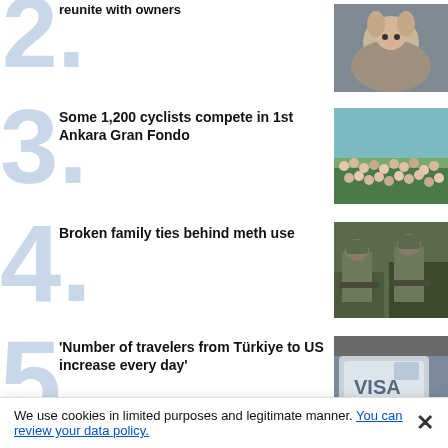2. reunite with owners
[Figure (photo): Woman with dog licking her face]
3. Some 1,200 cyclists compete in 1st Ankara Gran Fondo
[Figure (photo): Large crowd of cyclists gathered on grass]
4. Broken family ties behind meth use
[Figure (photo): Military/police officers with weapons]
5. 'Number of travelers from Türkiye to US increase every day'
[Figure (photo): US Visa document close-up]
Recommended
We use cookies in limited purposes and legitimate manner. You can review your data policy.